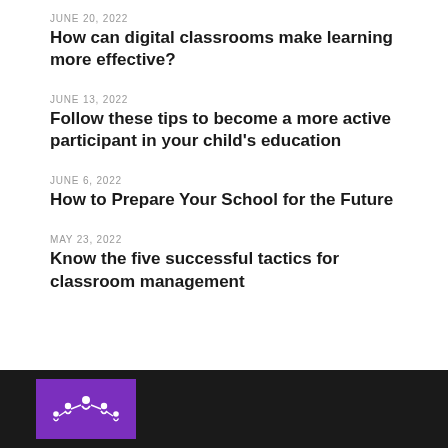JUNE 20, 2022
How can digital classrooms make learning more effective?
JUNE 13, 2022
Follow these tips to become a more active participant in your child's education
JUNE 6, 2022
How to Prepare Your School for the Future
MAY 23, 2022
Know the five successful tactics for classroom management
[Figure (logo): Purple square logo with white snowflake-like people figures arranged in a circle]